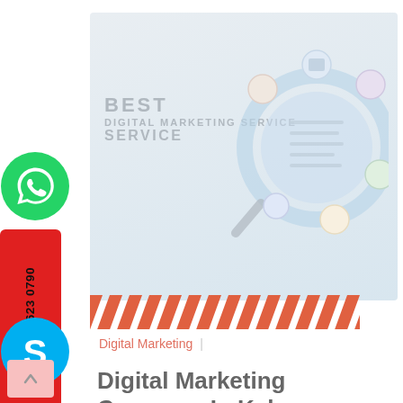[Figure (illustration): Hero banner image showing digital marketing concept with a magnifying glass, icons for social media, analytics, mobile, with text 'BEST DIGITAL MARKETING SERVICE' on a light grey background]
[Figure (illustration): Orange and red diagonal stripe banner/divider]
Digital Marketing
Digital Marketing Company In Kalyan
With the growing demands and supplies, the marketing of business solutions and services is rapidly increasing at an accelerated pace. And in